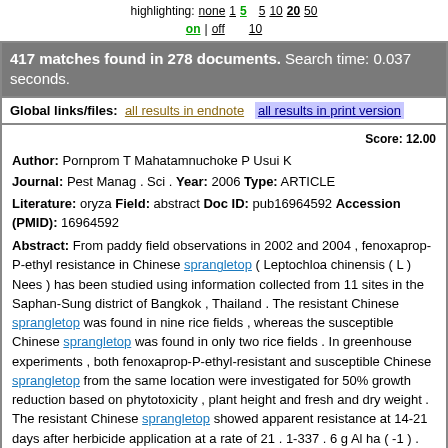highlighting: none 1 5 5 10 20 50
on | off
10
417 matches found in 278 documents. Search time: 0.037 seconds.
Global links/files: all results in endnote  all results in print version
Score: 12.00
Author: Pornprom T Mahatamnuchoke P Usui K
Journal: Pest Manag . Sci . Year: 2006 Type: ARTICLE
Literature: oryza Field: abstract Doc ID: pub16964592 Accession (PMID): 16964592
Abstract: From paddy field observations in 2002 and 2004 , fenoxaprop-P-ethyl resistance in Chinese sprangletop ( Leptochloa chinensis ( L ) Nees ) has been studied using information collected from 11 sites in the Saphan-Sung district of Bangkok , Thailand . The resistant Chinese sprangletop was found in nine rice fields , whereas the susceptible Chinese sprangletop was found in only two rice fields . In greenhouse experiments , both fenoxaprop-P-ethyl-resistant and susceptible Chinese sprangletop from the same location were investigated for 50% growth reduction based on phytotoxicity , plant height and fresh and dry weight . The resistant Chinese sprangletop showed apparent resistance at 14-21 days after herbicide application at a rate of 21 . 1-337 . 6 g Al ha ( -1 ) . The resistance index of resistant Chinese sprangletop was 10-25 times higher than that of the susceptible Chinese sprangletop . In addition , Chinese sprangletop did not exhibit multiple resistance to oxadiazon , propanil and quinclorac . According to acetyl-CoA carboxylase ( ACCase ) assays , the level of ACCase specific activity in the resistant Chinese